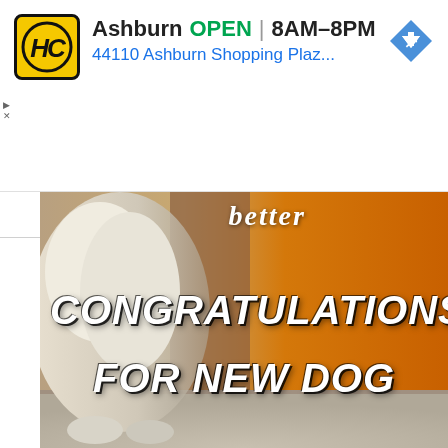[Figure (screenshot): Ad banner for Hound's Corner store in Ashburn, showing HC logo, OPEN status, hours 8AM-8PM, address 44110 Ashburn Shopping Plaz..., and a navigation arrow icon]
Ashburn  OPEN | 8AM–8PM
44110 Ashburn Shopping Plaz...
[Figure (photo): Photo of a fluffy white/light-colored dog with blurred warm golden/orange background. Text overlay reads 'better' at top, 'CONGRATULATIONS' in large italic bold white font, 'FOR NEW DOG' in large italic bold white font below.]